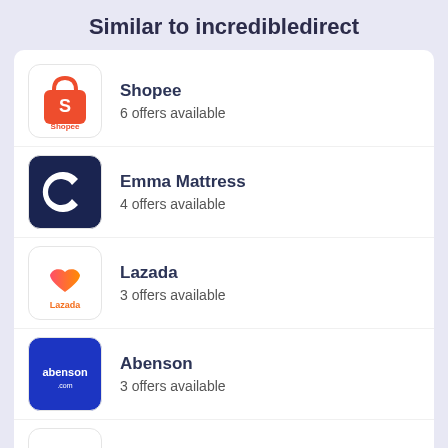Similar to incredibledirect
Shopee — 6 offers available
Emma Mattress — 4 offers available
Lazada — 3 offers available
Abenson — 3 offers available
Flower Chimp — 7 offers available